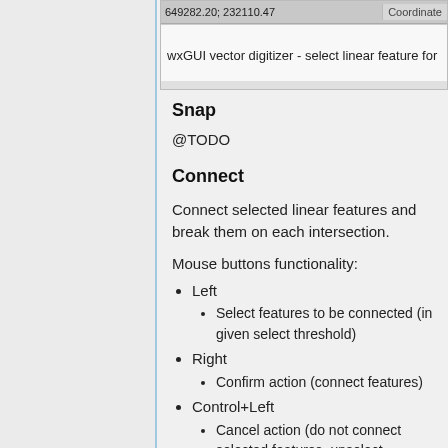[Figure (screenshot): wxGUI vector digitizer screenshot showing coordinate bar '649282.20; 232110.47' and 'Coordinates' label, with text 'wxGUI vector digitizer - select linear feature for']
Snap
@TODO
Connect
Connect selected linear features and break them on each intersection.
Mouse buttons functionality:
Left
Select features to be connected (in given select threshold)
Right
Confirm action (connect features)
Control+Left
Cancel action (do not connect selected features, unselect